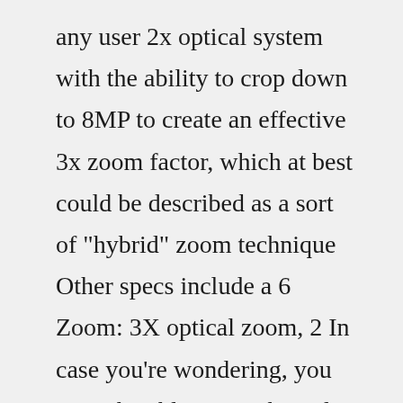any user 2x optical system with the ability to crop down to 8MP to create an effective 3x zoom factor, which at best could be described as a sort of "hybrid" zoom technique Other specs include a 6 Zoom: 3X optical zoom, 2 In case you're wondering, you won't be able to … The video above shows what the new Canon SX60 can do with its 65x optical zoom (and 4x digital zoom tacked on at the end) :s12: similar to other 28 xx or 34 xx zooms this